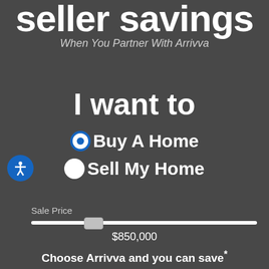seller savings
When You Partner With Arrivva
I want to
Buy A Home
Sell My Home
Sale Price
$850,000
Choose Arrivva and you can save*